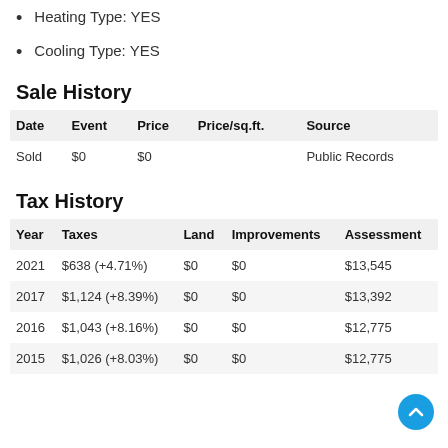Heating Type: YES
Cooling Type: YES
Sale History
| Date | Event | Price | Price/sq.ft. | Source |
| --- | --- | --- | --- | --- |
| Sold | $0 | $0 |  | Public Records |
Tax History
| Year | Taxes | Land | Improvements | Assessment |
| --- | --- | --- | --- | --- |
| 2021 | $638 (+4.71%) | $0 | $0 | $13,545 |
| 2017 | $1,124 (+8.39%) | $0 | $0 | $13,392 |
| 2016 | $1,043 (+8.16%) | $0 | $0 | $12,775 |
| 2015 | $1,026 (+8.03%) | $0 | $0 | $12,775 |